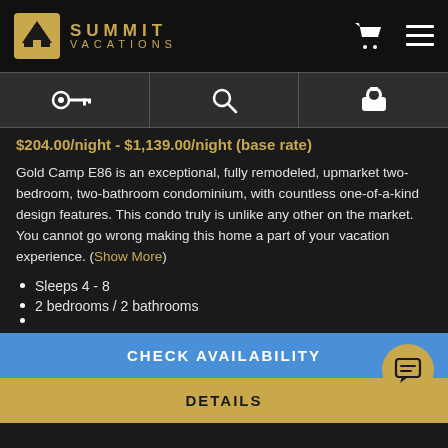SUMMIT VACATIONS
$204.00/night - $1,139.00/night (base rate)
Gold Camp E86 is an exceptional, fully remodeled, upmarket two-bedroom, two-bathroom condominium, with countless one-of-a-kind design features. This condo truly is unlike any other on the market. You cannot go wrong making this home a part of your vacation experience. (Show More)
Sleeps 4 - 8
2 bedrooms / 2 bathrooms
CHECK AVAILABILITY
DETAILS